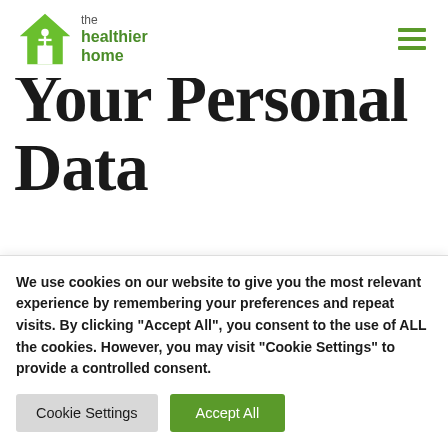[Figure (logo): The Healthier Home logo — green house icon with person figure, text 'the healthier home' in green]
Your Personal Data
Your information, including Personal Data, is processed at the Company's operating offices and in any other places where the parties involved in the processing are located.
We use cookies on our website to give you the most relevant experience by remembering your preferences and repeat visits. By clicking "Accept All", you consent to the use of ALL the cookies. However, you may visit "Cookie Settings" to provide a controlled consent.